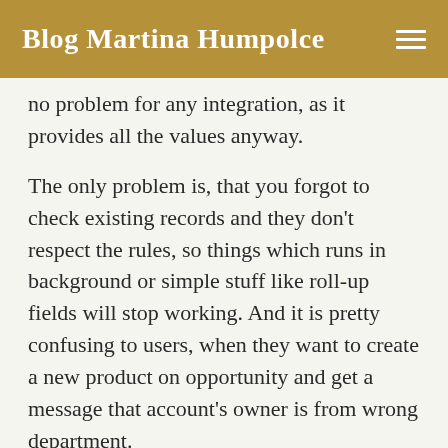Blog Martina Humpolce
no problem for any integration, as it provides all the values anyway.
The only problem is, that you forgot to check existing records and they don't respect the rules, so things which runs in background or simple stuff like roll-up fields will stop working. And it is pretty confusing to users, when they want to create a new product on opportunity and get a message that account's owner is from wrong department.
Solution: check in your validation rules that